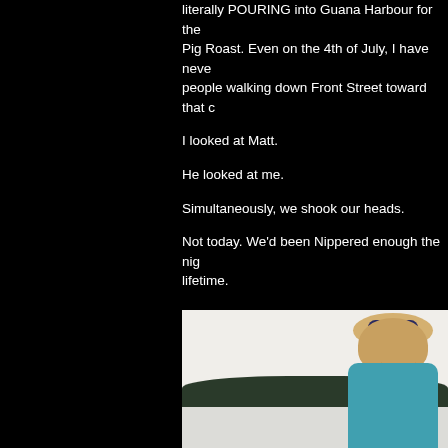literally POURING into Guana Harbour for the Pig Roast. Even on the 4th of July, I have never seen people walking down Front Street toward that c...
I looked at Matt.
He looked at me.
Simultaneously, we shook our heads.
Not today. We'd been Nippered enough the nig... lifetime.
Instead, we packed up and headed to the peac... lagoon.
[Figure (photo): A smiling blonde woman with sunglasses on top of her head, wearing a teal/turquoise top, outdoors with trees and a light sky in the background.]